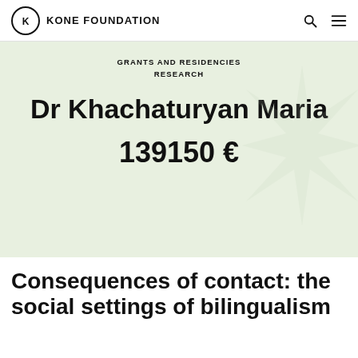KONE FOUNDATION
GRANTS AND RESIDENCIES
RESEARCH
Dr Khachaturyan Maria
139150 €
Consequences of contact: the social settings of bilingualism